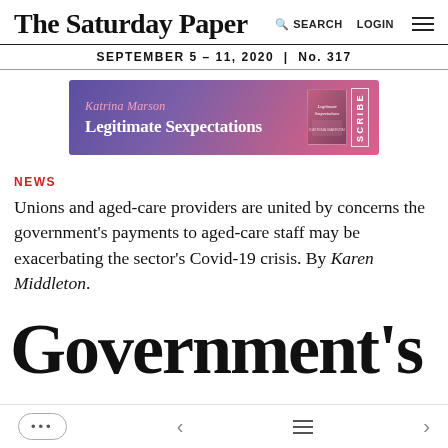The Saturday Paper — SEARCH LOGIN
SEPTEMBER 5 – 11, 2020 | No. 317
[Figure (illustration): Advertisement banner for 'Legitimate Sexpectations' by Katrina Marson, published by Scribe. Purple-pink gradient background with book cover image.]
NEWS
Unions and aged-care providers are united by concerns the government's payments to aged-care staff may be exacerbating the sector's Covid-19 crisis. By Karen Middleton.
Government's